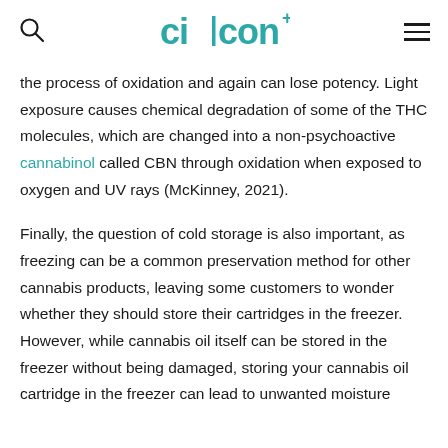CILICON+
the process of oxidation and again can lose potency. Light exposure causes chemical degradation of some of the THC molecules, which are changed into a non-psychoactive cannabinol called CBN through oxidation when exposed to oxygen and UV rays (McKinney, 2021).
Finally, the question of cold storage is also important, as freezing can be a common preservation method for other cannabis products, leaving some customers to wonder whether they should store their cartridges in the freezer. However, while cannabis oil itself can be stored in the freezer without being damaged, storing your cannabis oil cartridge in the freezer can lead to unwanted moisture